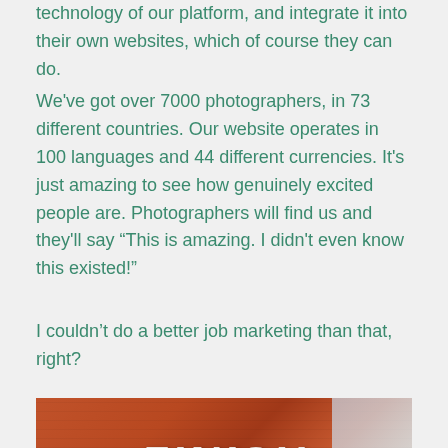technology of our platform, and integrate it into their own websites, which of course they can do.
We've got over 7000 photographers, in 73 different countries. Our website operates in 100 languages and 44 different currencies. It's just amazing to see how genuinely excited people are. Photographers will find us and they'll say “This is amazing. I didn't even know this existed!”
I couldn’t do a better job marketing than that, right?
[Figure (photo): A finish line banner in white distressed lettering reading FINISH, mounted against a rusty orange/red structure, with a cloudy sky visible in the upper right corner.]